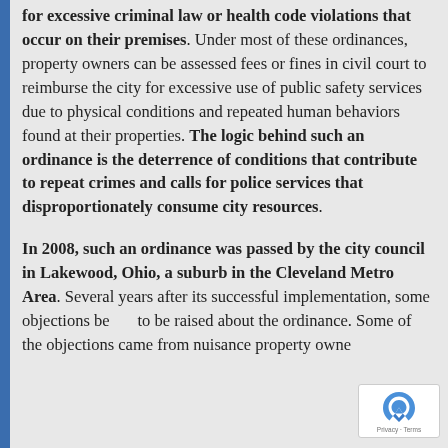for excessive criminal law or health code violations that occur on their premises. Under most of these ordinances, property owners can be assessed fees or fines in civil court to reimburse the city for excessive use of public safety services due to physical conditions and repeated human behaviors found at their properties. The logic behind such an ordinance is the deterrence of conditions that contribute to repeat crimes and calls for police services that disproportionately consume city resources.
In 2008, such an ordinance was passed by the city council in Lakewood, Ohio, a suburb in the Cleveland Metro Area. Several years after its successful implementation, some objections began to be raised about the ordinance. Some of the objections came from nuisance property owners,